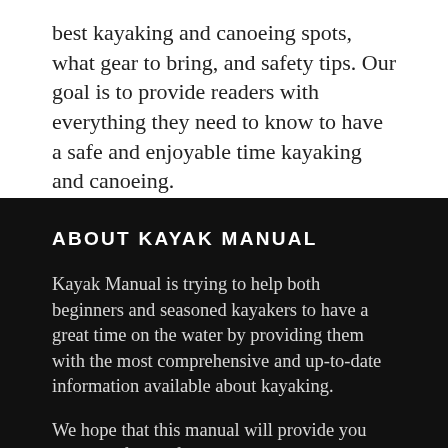best kayaking and canoeing spots, what gear to bring, and safety tips. Our goal is to provide readers with everything they need to know to have a safe and enjoyable time kayaking and canoeing.
ABOUT KAYAK MANUAL
Kayak Manual is trying to help both beginners and seasoned kayakers to have a great time on the water by providing them with the most comprehensive and up-to-date information available about kayaking.
We hope that this manual will provide you with all of the information that you need to get started kayaking or to improve your existing skills. In addition, we